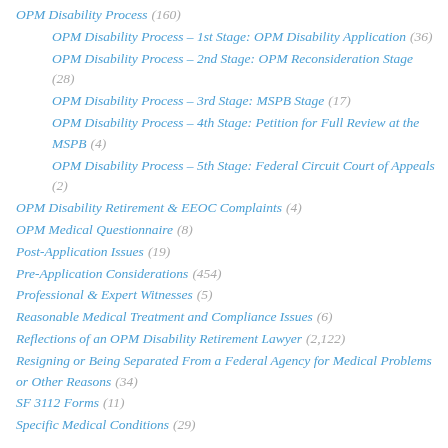OPM Disability Process (160)
OPM Disability Process – 1st Stage: OPM Disability Application (36)
OPM Disability Process – 2nd Stage: OPM Reconsideration Stage (28)
OPM Disability Process – 3rd Stage: MSPB Stage (17)
OPM Disability Process – 4th Stage: Petition for Full Review at the MSPB (4)
OPM Disability Process – 5th Stage: Federal Circuit Court of Appeals (2)
OPM Disability Retirement & EEOC Complaints (4)
OPM Medical Questionnaire (8)
Post-Application Issues (19)
Pre-Application Considerations (454)
Professional & Expert Witnesses (5)
Reasonable Medical Treatment and Compliance Issues (6)
Reflections of an OPM Disability Retirement Lawyer (2,122)
Resigning or Being Separated From a Federal Agency for Medical Problems or Other Reasons (34)
SF 3112 Forms (11)
Specific Medical Conditions (29)